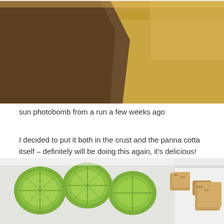[Figure (photo): Outdoor landscape photo showing a dirt path or cleared soil on the left side and golden/brown dry grass or wheat on the right, taken during a run with sun photobomb effect.]
sun photobomb from a run a few weeks ago
I decided to put it both in the crust and the panna cotta itself – definitely will be doing this again, it's delicious! Not sure why I've never really put citrus zest into this crust but I'm glad I fixed that. Meyer lemons are still easily found around here too, so I'm trying to take advantage when I can.
[Figure (photo): Close-up food photo showing lime or lemon slices arranged on a white plate or surface, with what appears to be crumble or crust pieces visible on the right side.]